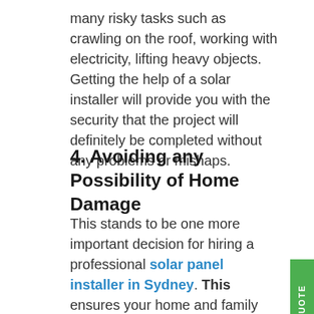many risky tasks such as crawling on the roof, working with electricity, lifting heavy objects. Getting the help of a solar installer will provide you with the security that the project will definitely be completed without any problems or mishaps.
4. Avoiding any Possibility of Home Damage
This stands to be one more important decision for hiring a professional solar panel installer in Sydney. This ensures your home and family are safe from any structural damage or mishap. There are possibilities of damaging your roof or a solar module while installing the solar panel system all by yourself. The solar system Sydney is quite